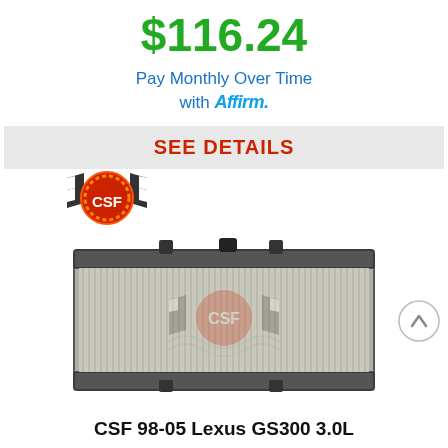$116.24
Pay Monthly Over Time with Affirm.
SEE DETAILS
[Figure (logo): CSF brand logo with checkered flags and gear icon]
[Figure (photo): CSF radiator product photo for 98-05 Lexus GS300 3.0L]
CSF 98-05 Lexus GS300 3.0L